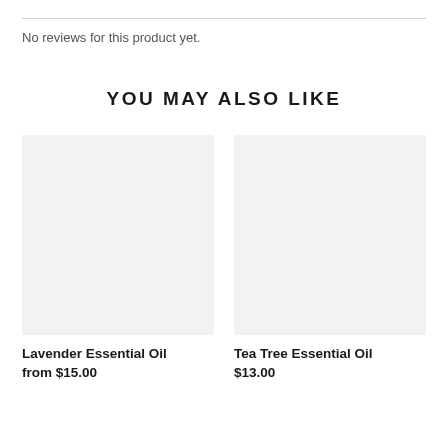No reviews for this product yet.
YOU MAY ALSO LIKE
[Figure (photo): Product image placeholder for Lavender Essential Oil (light gray rectangle)]
Lavender Essential Oil
from $15.00
[Figure (photo): Product image placeholder for Tea Tree Essential Oil (light gray rectangle)]
Tea Tree Essential Oil
$13.00